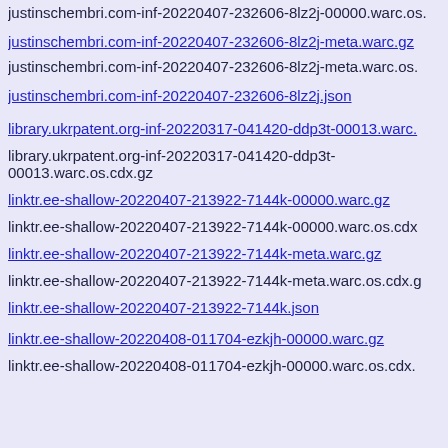justinschembri.com-inf-20220407-232606-8lz2j-00000.warc.os.cdx.gz
justinschembri.com-inf-20220407-232606-8lz2j-meta.warc.gz
justinschembri.com-inf-20220407-232606-8lz2j-meta.warc.os.
justinschembri.com-inf-20220407-232606-8lz2j.json
library.ukrpatent.org-inf-20220317-041420-ddp3t-00013.warc.
library.ukrpatent.org-inf-20220317-041420-ddp3t-00013.warc.os.cdx.gz
linktr.ee-shallow-20220407-213922-7144k-00000.warc.gz
linktr.ee-shallow-20220407-213922-7144k-00000.warc.os.cdx
linktr.ee-shallow-20220407-213922-7144k-meta.warc.gz
linktr.ee-shallow-20220407-213922-7144k-meta.warc.os.cdx.g
linktr.ee-shallow-20220407-213922-7144k.json
linktr.ee-shallow-20220408-011704-ezkjh-00000.warc.gz
linktr.ee-shallow-20220408-011704-ezkjh-00000.warc.os.cdx.